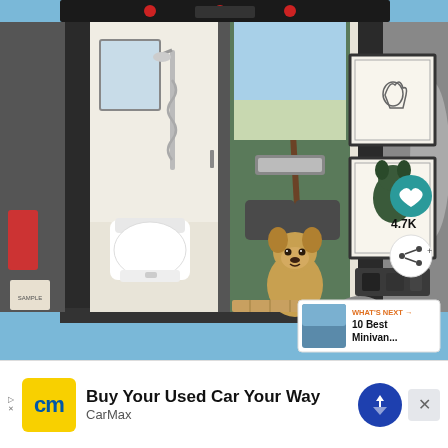[Figure (photo): Interior of a converted camper van viewed from the open rear doors. On the left side is a white toilet and overhead shower fixture. In the center doorway is a small French Bulldog sitting on a wooden step mat, with the van's front cab seats and a tropical scene visible through the windshield. On the right wall are two framed artworks featuring French Bulldog illustrations. Below the art are electrical outlets and a coiled hose. A teal heart/like icon with count '4.7K' and a share icon are overlaid on the right. A 'WHAT'S NEXT' thumbnail suggestion for '10 Best Minivan...' appears bottom right. The van's black exterior is visible on both sides.]
[Figure (other): Advertisement bar at bottom: CarMax 'Buy Your Used Car Your Way' ad with yellow CM logo square, CarMax text, blue navigation arrow icon, and a close X button.]